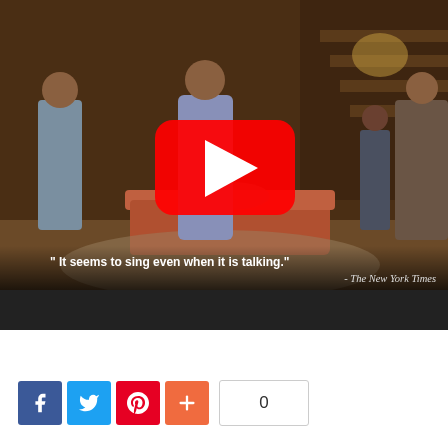[Figure (screenshot): YouTube video thumbnail showing a theater stage scene with actors in period costume. A woman in a blue floral dress stands center stage, a man in overalls stands to the left, two figures visible on the right. A couch is visible in the background. A YouTube play button overlay is centered on the image. Text overlay at the bottom reads: '" It seems to sing even when it is talking."' attributed to '- The New York Times'. Below the scene is a black bar.]
[Figure (infographic): Social sharing buttons row: Facebook (blue), Twitter (light blue), Pinterest (red), More/Plus (orange-red), followed by a share count box showing '0'.]